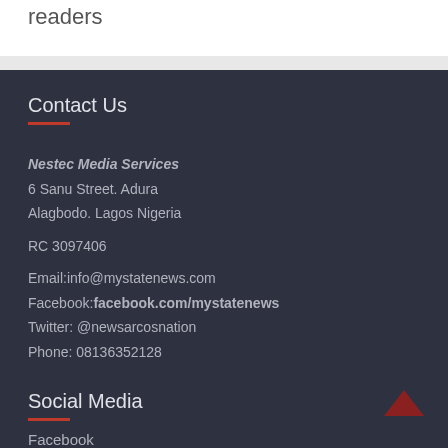readers
Contact Us
Nestec Media Services
6 Sanu Street. Adura
Alagbodo. Lagos Nigeria

RC 3097406

Email:info@mystatenews.com
Facebook:facebook.com/mystatenews
Twitter: @newsarcosnation
Phone: 08136352128
Social Media
Facebook